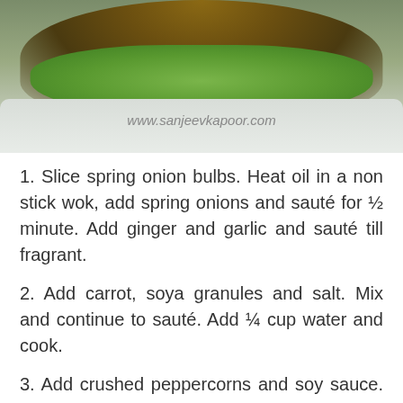[Figure (photo): Food photo showing lettuce wraps filled with soya granule mixture on a plate, with www.sanjeevkapoor.com watermark]
1. Slice spring onion bulbs. Heat oil in a non stick wok, add spring onions and sauté for ½ minute. Add ginger and garlic and sauté till fragrant.
2. Add carrot, soya granules and salt. Mix and continue to sauté. Add ¼ cup water and cook.
3. Add crushed peppercorns and soy sauce. Chop spring onion greens and add and mix well.
4. Trim the lettuce leaves to form a